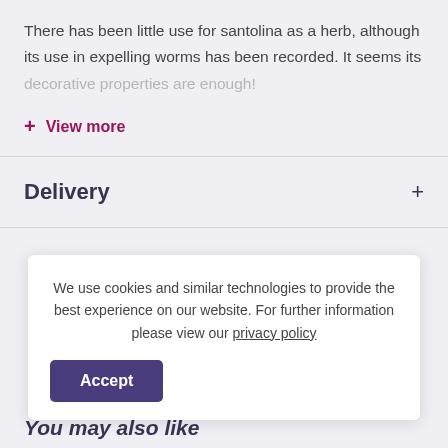There has been little use for santolina as a herb, although its use in expelling worms has been recorded. It seems its decorative properties are enough!
+ View more
Delivery +
We use cookies and similar technologies to provide the best experience on our website. For further information please view our privacy policy
Accept
You may also like